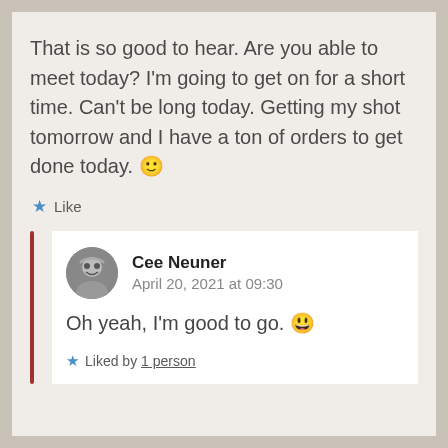That is so good to hear. Are you able to meet today? I'm going to get on for a short time. Can't be long today. Getting my shot tomorrow and I have a ton of orders to get done today. 🙂
★ Like
Cee Neuner
April 20, 2021 at 09:30
Oh yeah, I'm good to go. 😀
★ Liked by 1 person